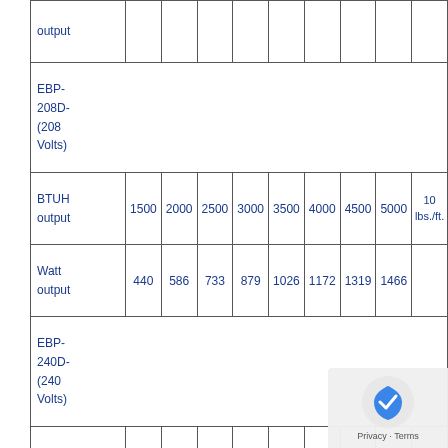|  | 1500 | 2000 | 2500 | 3000 | 3500 | 4000 | 4500 | 5000 | 10 lbs./ft. |
| --- | --- | --- | --- | --- | --- | --- | --- | --- | --- |
| output |  |  |  |  |  |  |  |  |  |
| EBP-208D-(208 Volts) |  |  |  |  |  |  |  |  |  |
| BTUH output | 1500 | 2000 | 2500 | 3000 | 3500 | 4000 | 4500 | 5000 | 10 lbs./ft. |
| Watt output | 440 | 586 | 733 | 879 | 1026 | 1172 | 1319 | 1466 |  |
| EBP-240D-(240 Volts) |  |  |  |  |  |  |  |  |  |
| BTUH output | 1500 | 2000 | 2500 | 3000 | 3500 | 4000 | 4500 | 5000 | lbs./ft. |